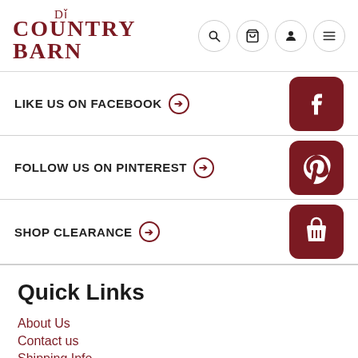DL Country Barn
LIKE US ON FACEBOOK →
FOLLOW US ON PINTEREST →
SHOP CLEARANCE →
Quick Links
About Us
Contact us
Shipping Info